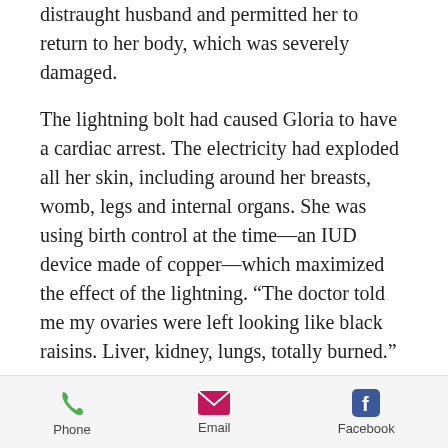distraught husband and permitted her to return to her body, which was severely damaged.
The lightning bolt had caused Gloria to have a cardiac arrest. The electricity had exploded all her skin, including around her breasts, womb, legs and internal organs. She was using birth control at the time—an IUD device made of copper—which maximized the effect of the lightning. “The doctor told me my ovaries were left looking like black raisins. Liver, kidney, lungs, totally burned.”
She was taken to hospital and underwent
[Figure (infographic): App footer bar with three icons: Phone (green phone icon), Email (pink/magenta envelope icon), Facebook (blue Facebook logo icon), each with label below.]